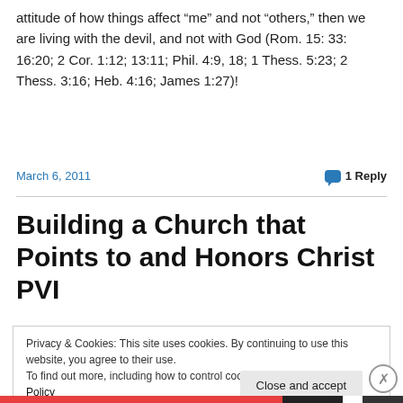attitude of how things affect “me” and not “others,” then we are living with the devil, and not with God (Rom. 15: 33: 16:20; 2 Cor. 1:12; 13:11; Phil. 4:9, 18; 1 Thess. 5:23; 2 Thess. 3:16; Heb. 4:16; James 1:27)!
March 6, 2011
1 Reply
Building a Church that Points to and Honors Christ PVI
Privacy & Cookies: This site uses cookies. By continuing to use this website, you agree to their use.
To find out more, including how to control cookies, see here: Cookie Policy
Close and accept